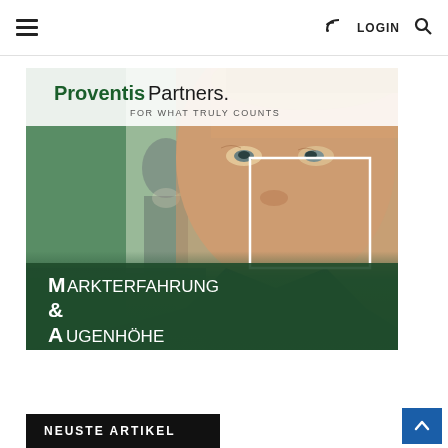≡  RSS  LOGIN  🔍
[Figure (photo): Proventis Partners branded image showing a close-up of a businessman's face with a white square overlay on his face. In the background, another person in a dark suit is blurred. Text overlay reads 'ProventisPartners. FOR WHAT TRULY COUNTS' at the top and 'MARKTERFAHRUNG & AUGENHÖHE' at the bottom left in white on dark green background.]
NEUSTE ARTIKEL